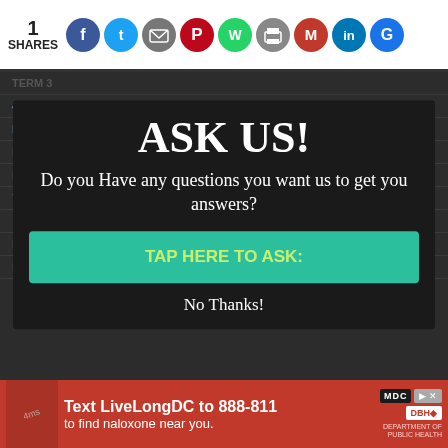1 SHARES — social share icons: Facebook, Twitter, Email, Pinterest, WhatsApp, Print, Gmail, LinkedIn, Google
TERM 3
441/1
MSCHM
HOME SCIENCE PAPER 1
FORM 4
TERM 3
ASK US!
Do you Have any questions you want us to get you answers?
TAP HERE TO ASK:
No Thanks!
HOME SCIENCE PAPER 2
FORM 4
[Figure (infographic): Red advertisement banner: Text LiveLongDC to 888-811 to find naloxone near you. MDC logo and DBH logo on right side.]